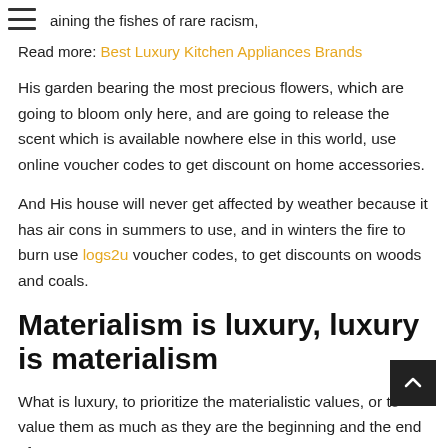aining the fishes of rare racism,
Read more: Best Luxury Kitchen Appliances Brands
His garden bearing the most precious flowers, which are going to bloom only here, and are going to release the scent which is available nowhere else in this world, use online voucher codes to get discount on home accessories.
And His house will never get affected by weather because it has air cons in summers to use, and in winters the fire to burn use logs2u voucher codes, to get discounts on woods and coals.
Materialism is luxury, luxury is materialism
What is luxury, to prioritize the materialistic values, or to value them as much as they are the beginning and the end of